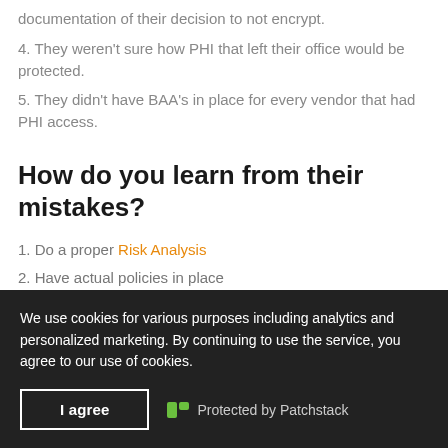documentation of their decision to not encrypt.
4. They weren't sure how PHI that left their office would be protected.
5. They didn't have BAA's in place for every vendor that had PHI access.
How do you learn from their mistakes?
1. Do a proper Risk Analysis
2. Have actual policies in place
3. Have a training plan that is documented properly
We use cookies for various purposes including analytics and personalized marketing. By continuing to use the service, you agree to our use of cookies.
I agree   Protected by Patchstack